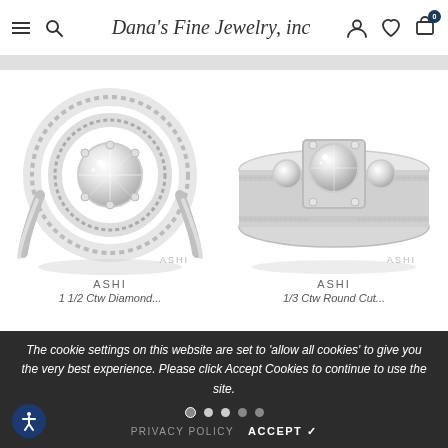Dana's Fine Jewelry, inc
[Figure (photo): ASHI double halo diamond engagement ring in white gold with round center stone]
ASHI
1 1/2 Ctw Diamond...
[Figure (photo): ASHI three-stone diamond ring in white gold with milgrain detail]
ASHI
1/3 Ctw Round Cut...
The cookie settings on this website are set to 'allow all cookies' to give you the very best experience. Please click Accept Cookies to continue to use the site.
PRIVACY POLICY   ACCEPT ✓